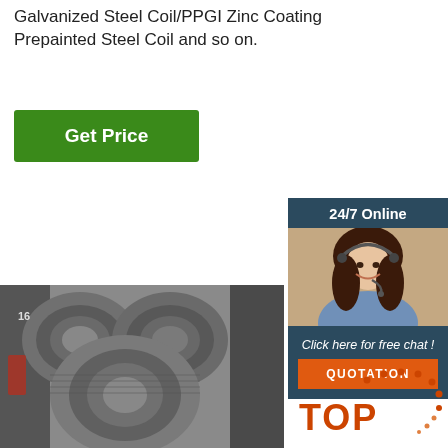Galvanized Steel Coil/PPGI Zinc Coating Prepainted Steel Coil and so on.
[Figure (other): Green 'Get Price' button]
[Figure (other): Sidebar widget with '24/7 Online' header, photo of woman with headset, 'Click here for free chat!' text, and orange QUOTATION button]
[Figure (photo): Large photo of galvanized steel wire coils stacked in a warehouse]
[Figure (logo): Orange TOP badge with dotted arc decoration in bottom right]